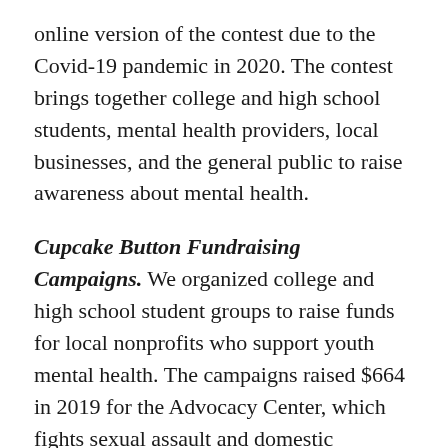online version of the contest due to the Covid-19 pandemic in 2020. The contest brings together college and high school students, mental health providers, local businesses, and the general public to raise awareness about mental health.
Cupcake Button Fundraising Campaigns. We organized college and high school student groups to raise funds for local nonprofits who support youth mental health. The campaigns raised $664 in 2019 for the Advocacy Center, which fights sexual assault and domestic violence; and $1,018 in 2020 for the Village at Ithaca, which advocates for education equity for black, brown, low income, and other underrepresented and underserved populations.
Social Media Campaigns. We collaborated with the Tompkins County Youth Services Department on a social